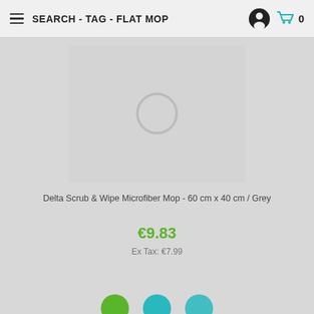SEARCH - TAG - FLAT MOP
[Figure (photo): Product image placeholder with a grey loading spinner circle on a grey background]
Delta Scrub & Wipe Microfiber Mop - 60 cm x 40 cm / Grey
€9.83
Ex Tax: €7.99